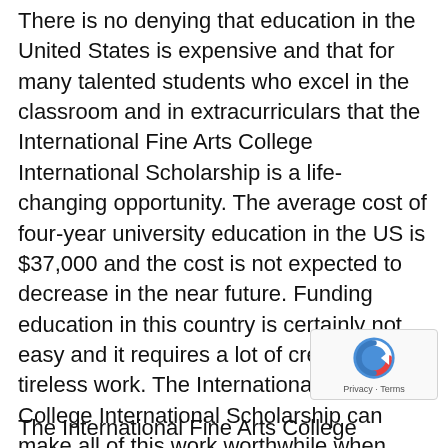There is no denying that education in the United States is expensive and that for many talented students who excel in the classroom and in extracurriculars that the International Fine Arts College International Scholarship is a life-changing opportunity. The average cost of four-year university education in the US is $37,000 and the cost is not expected to decrease in the near future. Funding education in this country is certainly not easy and it requires a lot of creativity and tireless work. The International Fine Arts College International Scholarship can make all of this work worthwhile when they offer one of the most competitive scholarship awards for international students.
The International Fine Arts College